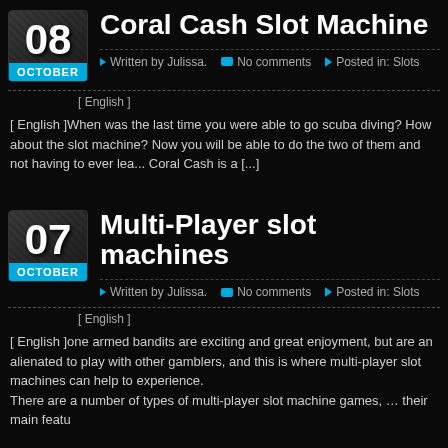Coral Cash Slot Machine
Written by Julissa. No comments Posted in: Slots
[ English ]
[ English ]When was the last time you were able to go scuba diving? How about the slot machine? Now you will be able to do the two of them and not having to ever lea... Coral Cash is a [...]
Multi-Player slot machines
Written by Julissa. No comments Posted in: Slots
[ English ]
[ English ]one armed bandits are exciting and great enjoyment, but are an alienated to play with other gamblers, and this is where multi-player slot machines can help to experience.
There are a number of types of multi-player slot machine games, … their main featu